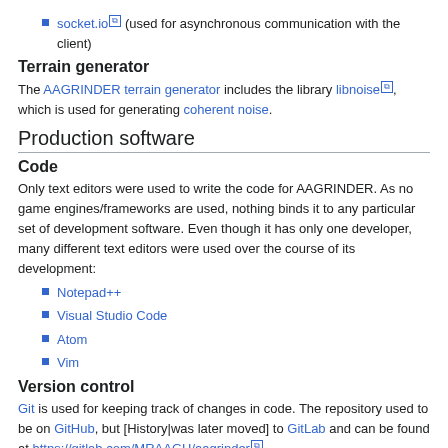socket.io (used for asynchronous communication with the client)
Terrain generator
The AAGRINDER terrain generator includes the library libnoise, which is used for generating coherent noise.
Production software
Code
Only text editors were used to write the code for AAGRINDER. As no game engines/frameworks are used, nothing binds it to any particular set of development software. Even though it has only one developer, many different text editors were used over the course of its development:
Notepad++
Visual Studio Code
Atom
Vim
Version control
Git is used for keeping track of changes in code. The repository used to be on GitHub, but [History|was later moved] to GitLab and can be found at https://gitlab.com/MRAAGH/aagrinder.